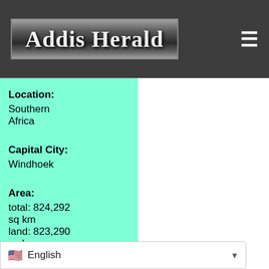Addis Herald
Location: Southern Africa
Capital City: Windhoek
Area: total: 824,292 sq km land: 823,290 sq km wate…